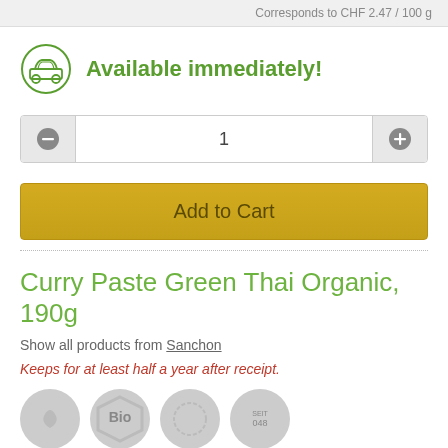Corresponds to CHF 2.47 / 100 g
[Figure (illustration): Green circular icon with a car/delivery vehicle symbol inside, indicating immediate availability]
Available immediately!
[Figure (screenshot): Quantity selector with minus button, number 1 in center field, and plus button]
Add to Cart
Curry Paste Green Thai Organic, 190g
Show all products from Sanchon
Keeps for at least half a year after receipt.
[Figure (illustration): Row of four circular badge icons (certification/quality seals), partially visible at bottom]